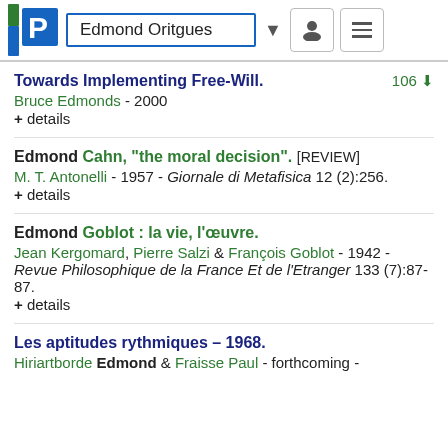Edmond Oritgues
Towards Implementing Free-Will.
Bruce Edmonds - 2000
+ details
Edmond Cahn, "the moral decision". [REVIEW]
M. T. Antonelli - 1957 - Giornale di Metafisica 12 (2):256.
+ details
Edmond Goblot : la vie, l'œuvre.
Jean Kergomard, Pierre Salzi & François Goblot - 1942 - Revue Philosophique de la France Et de l'Etranger 133 (7):87-87.
+ details
Les aptitudes rythmiques – 1968.
Hiriartborde Edmond & Fraisse Paul - forthcoming -